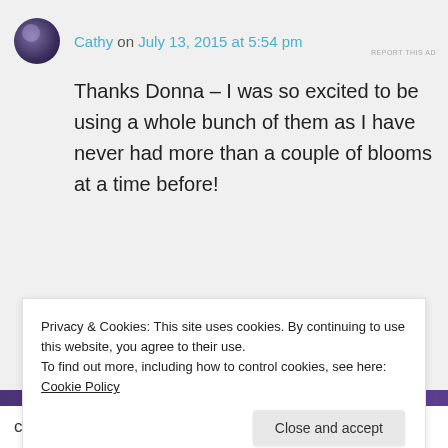Cathy on July 13, 2015 at 5:54 pm
Thanks Donna – I was so excited to be using a whole bunch of them as I have never had more than a couple of blooms at a time before!
[Figure (screenshot): WooCommerce eCommerce platform advertisement banner with purple background]
REPORT THIS AD
Privacy & Cookies: This site uses cookies. By continuing to use this website, you agree to their use.
To find out more, including how to control cookies, see here: Cookie Policy
Close and accept
come to compose your picture. For this week I